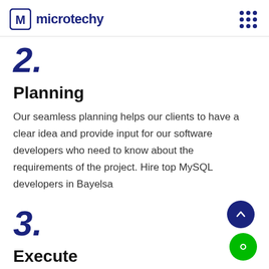microtechy
2.
Planning
Our seamless planning helps our clients to have a clear idea and provide input for our software developers who need to know about the requirements of the project. Hire top MySQL developers in Bayelsa
3.
Execute
Our MySQL developers in Bayelsa provide industry-